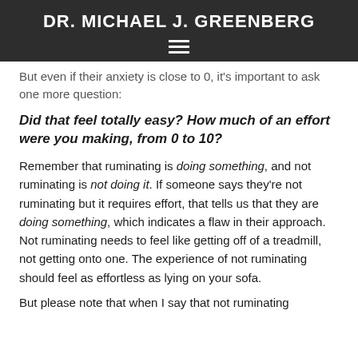DR. MICHAEL J. GREENBERG
But even if their anxiety is close to 0, it's important to ask one more question:
Did that feel totally easy?  How much of an effort were you making, from 0 to 10?
Remember that ruminating is doing something, and not ruminating is not doing it.  If someone says they're not ruminating but it requires effort, that tells us that they are doing something, which indicates a flaw in their approach.  Not ruminating needs to feel like getting off of a treadmill, not getting onto one.  The experience of not ruminating should feel as effortless as lying on your sofa.
But please note that when I say that not ruminating